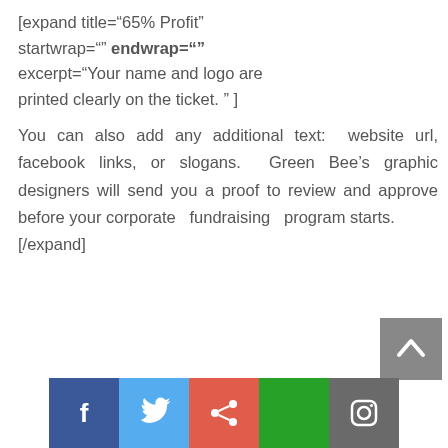[expand title="65% Profit" startwrap="" endwrap="" excerpt="Your name and logo are printed clearly on the ticket. " ]
You can also add any additional text:  website url, facebook links, or slogans.  Green Bee's graphic designers will send you a proof to review and approve before your corporate  fundraising  program starts.
[/expand]
[Figure (other): Social media icon buttons: Facebook (blue), Twitter (light blue), Google+ / share (red-orange), green button, Instagram (dark grey)]